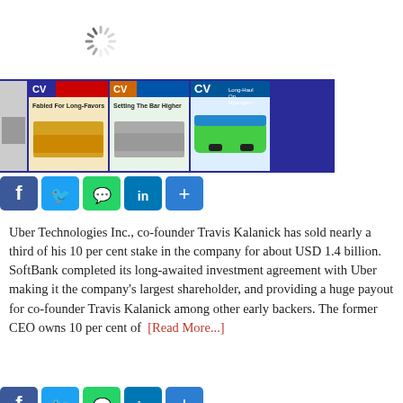[Figure (other): Loading spinner icon]
[Figure (other): Magazine banner on dark blue background showing three CV magazine covers with trucks]
[Figure (other): Social media share buttons: Facebook, Twitter, WhatsApp, LinkedIn, Share]
Uber Technologies Inc., co-founder Travis Kalanick has sold nearly a third of his 10 per cent stake in the company for about USD 1.4 billion. SoftBank completed its long-awaited investment agreement with Uber making it the company's largest shareholder, and providing a huge payout for co-founder Travis Kalanick among other early backers. The former CEO owns 10 per cent of [Read More...]
[Figure (other): Social media share buttons at bottom: Facebook, Twitter, WhatsApp, LinkedIn, Share]